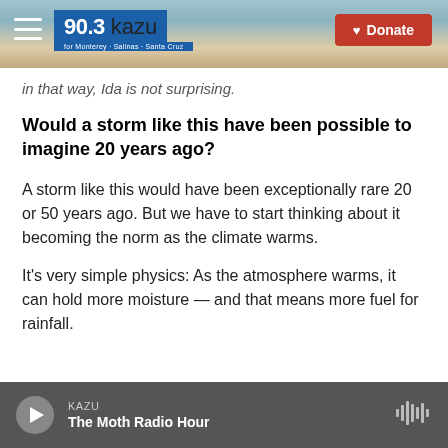[Figure (screenshot): 90.3 KAZU radio station navigation bar with hamburger menu icon, blue logo box showing '90.3 kazu' with tagline 'for Monterey Salinas Santa Cruz', and a red Donate button with heart icon on the right]
in that way, Ida is not surprising.
Would a storm like this have been possible to imagine 20 years ago?
A storm like this would have been exceptionally rare 20 or 50 years ago. But we have to start thinking about it becoming the norm as the climate warms.
It's very simple physics: As the atmosphere warms, it can hold more moisture — and that means more fuel for rainfall.
KAZU | The Moth Radio Hour